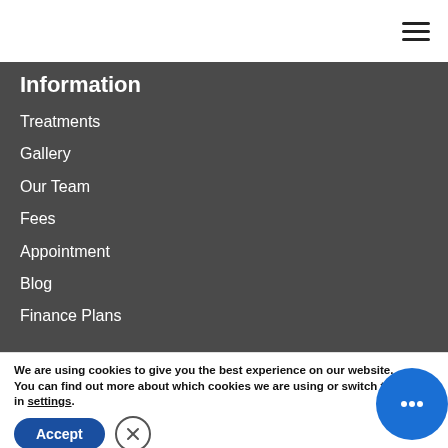≡
Information
Treatments
Gallery
Our Team
Fees
Appointment
Blog
Finance Plans
We are using cookies to give you the best experience on our website.
You can find out more about which cookies we are using or switch them off in settings.
Accept